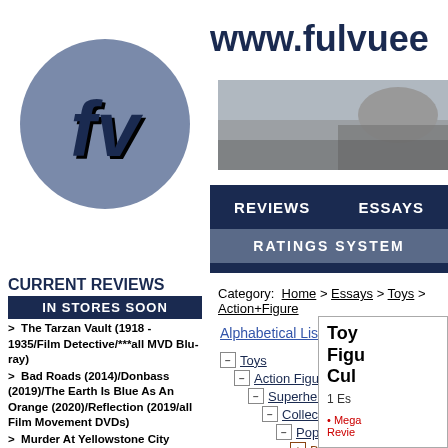[Figure (logo): Fulvue Drive-in logo: circular grey background with 3D dark blue 'fv' letters and text 'Fulvue Drive-in' below]
www.fulvue...
[Figure (photo): Photo strip of a motorcycling or crowd scene]
REVIEWS    ESSAYS
RATINGS SYSTEM
Category:  Home > Essays > Toys > Action+Figure
Alphabetical List
CURRENT REVIEWS
IN STORES SOON
> The Tarzan Vault (1918 - 1935/Film Detective/***all MVD Blu-ray)
> Bad Roads (2014)/Donbass (2019)/The Earth Is Blue As An Orange (2020)/Reflection (2019/all Film Movement DVDs)
> Murder At Yellowstone City (2022/RLJ Blu-ray)
> Stingray (1964 - 1965**)/That Dirty Black Bag: Season 1 (2022/AMC/RLJ Blu-ray)/Wanted: Dead Or Alive (1958 - 1961/**both Via Vision PAL Region Free Import DVD Complete Series sets)
> Batwoman: The Complete Third &
Toys
  Action Figures
    Superheroes
      Collectibles
        Pop Culture
          Business
Toy Fig Cul
1 Es
• Mega Revie